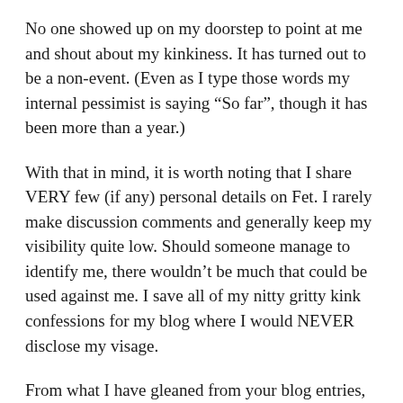No one showed up on my doorstep to point at me and shout about my kinkiness. It has turned out to be a non-event. (Even as I type those words my internal pessimist is saying “So far”, though it has been more than a year.)
With that in mind, it is worth noting that I share VERY few (if any) personal details on Fet. I rarely make discussion comments and generally keep my visibility quite low. Should someone manage to identify me, there wouldn’t be much that could be used against me. I save all of my nitty gritty kink confessions for my blog where I would NEVER disclose my visage.
From what I have gleaned from your blog entries, you have significantly more to lose than I did/do. As Ferns said, be sure you’re aware of the risks. Digital permanence being what it is, this is not something you would be able to take back.